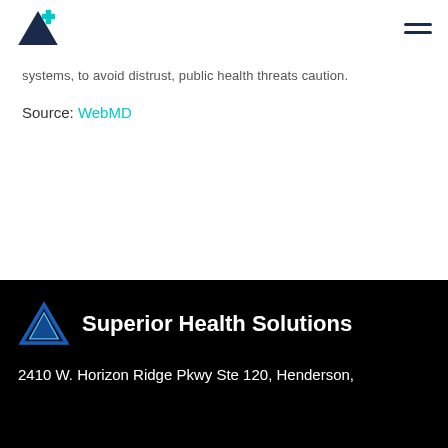Superior Health Solutions logo and hamburger menu navigation
systems, to avoid distrust, public health threats caution.
Source: WebMD
Superior Health Solutions
2410 W. Horizon Ridge Pkwy Ste 120, Henderson,